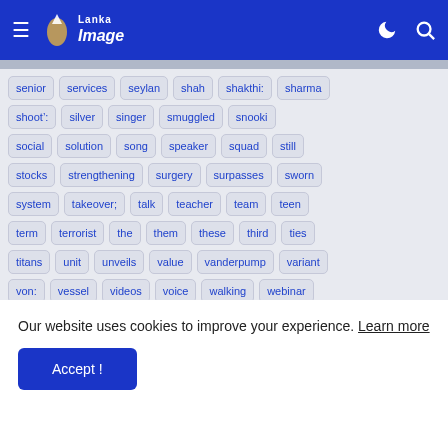Lanka Image
senior
services
seylan
shah
shakthi:
sharma
shoot&#8217;:
silver
singer
smuggled
snooki
social
solution
song
speaker
squad
still
stocks
strengthening
surgery
surpasses
sworn
system
takeover;
talk
teacher
team
teen
term
terrorist
the
them
these
third
ties
titans
unit
unveils
value
vanderpump
variant
von:
vessel
videos
voice
walking
webinar
Our website uses cookies to improve your experience. Learn more
Accept !